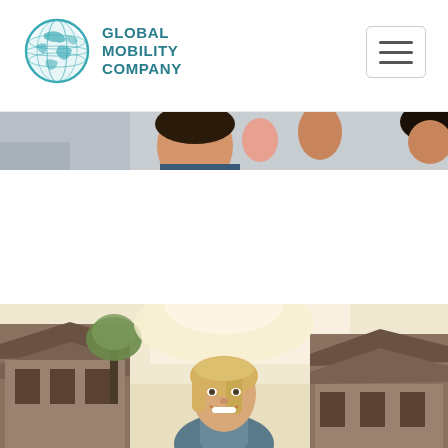GLOBAL MOBILITY COMPANY
[Figure (photo): Partial cropped photo of people at the top of the page]
[Figure (photo): Photo of a smiling blonde woman outdoors in front of a traditional Asian-style building with warm golden sunlight]